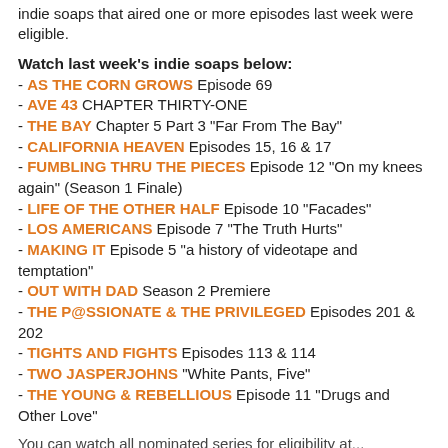indie soaps that aired one or more episodes last week were eligible.
Watch last week's indie soaps below:
- AS THE CORN GROWS Episode 69
- AVE 43 CHAPTER THIRTY-ONE
- THE BAY Chapter 5 Part 3 "Far From The Bay"
- CALIFORNIA HEAVEN Episodes 15, 16 & 17
- FUMBLING THRU THE PIECES Episode 12 "On my knees again" (Season 1 Finale)
- LIFE OF THE OTHER HALF Episode 10 "Facades"
- LOS AMERICANS Episode 7 "The Truth Hurts"
- MAKING IT Episode 5 "a history of videotape and temptation"
- OUT WITH DAD Season 2 Premiere
- THE P@SSIONATE & THE PRIVILEGED Episodes 201 & 202
- TIGHTS AND FIGHTS Episodes 113 & 114
- TWO JASPERJOHNS "White Pants, Five"
- THE YOUNG & REBELLIOUS Episode 11 "Drugs and Other Love"
You can watch all nominated series for eligibility at...